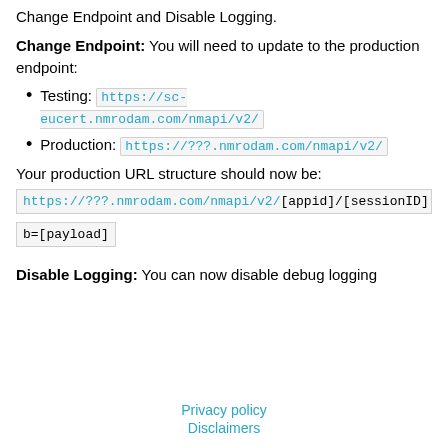Change Endpoint and Disable Logging.
Change Endpoint: You will need to update to the production endpoint:
Testing: https://sc-eucert.nmrodam.com/nmapi/v2/
Production: https://???.nmrodam.com/nmapi/v2/
Your production URL structure should now be:
https://???.nmrodam.com/nmapi/v2/[appid]/[sessionID]...b=[payload]
Disable Logging: You can now disable debug logging
Privacy policy
Disclaimers